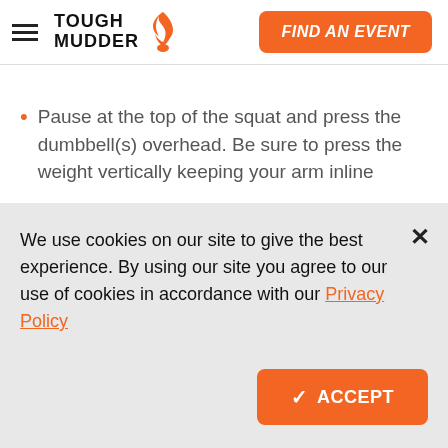TOUGH MUDDER | FIND AN EVENT
Pause at the top of the squat and press the dumbbell(s) overhead. Be sure to press the weight vertically keeping your arm inline
We use cookies on our site to give the best experience. By using our site you agree to our use of cookies in accordance with our Privacy Policy
✓ ACCEPT
If you're not quite at the progression stage, learn